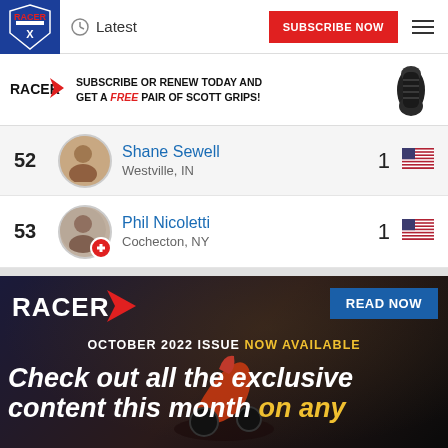Racer X | Latest | SUBSCRIBE NOW
SUBSCRIBE OR RENEW TODAY AND GET A FREE PAIR OF SCOTT GRIPS!
52 Shane Sewell - Westville, IN - 1
53 Phil Nicoletti - Cochecton, NY - 1
[Figure (photo): Racer X magazine October 2022 issue promotional banner featuring a motocross rider. Text: OCTOBER 2022 ISSUE NOW AVAILABLE. Check out all the exclusive content this month on any. READ NOW button.]